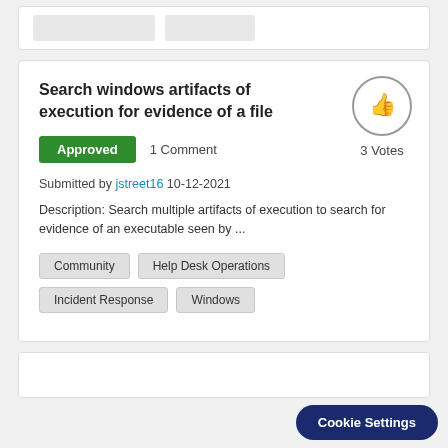Search windows artifacts of execution for evidence of a file
Approved   1 Comment   3 Votes
Submitted by jstreet16 10-12-2021
Description: Search multiple artifacts of execution to search for evidence of an executable seen by ...
Community
Help Desk Operations
Incident Response
Windows
Cookie Settings